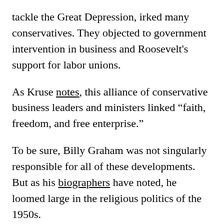tackle the Great Depression, irked many conservatives. They objected to government intervention in business and Roosevelt's support for labor unions.
As Kruse notes, this alliance of conservative business leaders and ministers linked “faith, freedom, and free enterprise.”
To be sure, Billy Graham was not singularly responsible for all of these developments. But as his biographers have noted, he loomed large in the religious politics of the 1950s.
Graham’s legacy
The prevalence of religious language in U.S. politics that Graham helped inspire continues to this day. Indeed, the Trump administration has been particularly swift to employ it.